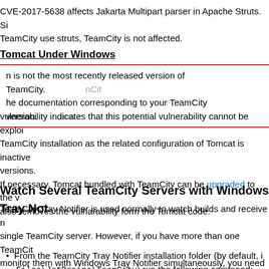CVE-2017-5638 affects Jakarta Multipart parser in Apache Struts. Since TeamCity use struts, TeamCity is not affected.
Tomcat Under Windows
n is not the most recently released version of TeamCity. he documentation corresponding to your TeamCity version.
vulnerability indicates that this potential vulnerability cannot be exploited in TeamCity installation as the related configuration of Tomcat is inactive in these versions.
If necessary, Tomcat bundled with TeamCity can be upgraded to the which also removes the vulnarability form the Tomcat code.
Watch Several TeamCity Servers with Windows Tray Not
TeamCity Tray Notifier is used normally to watch builds and receive notifications from a single TeamCity server. However, if you have more than one TeamCity server and want to monitor them with Windows Tray Notifier simultaneously, you need to run a separate instance of Tray Notifier for each of the servers from the command line using the /allowMultiple option:
From the TeamCity Tray Notifier installation folder (by default, it is Program Files\JetBrains\TeamCity) run the following command: